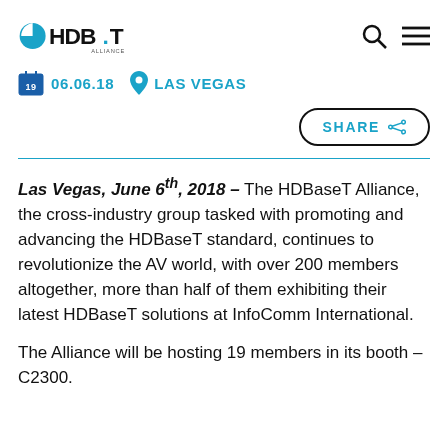HDBaseT Alliance logo, search icon, menu icon
06.06.18  LAS VEGAS
SHARE
Las Vegas, June 6th, 2018 – The HDBaseT Alliance, the cross-industry group tasked with promoting and advancing the HDBaseT standard, continues to revolutionize the AV world, with over 200 members altogether, more than half of them exhibiting their latest HDBaseT solutions at InfoComm International.
The Alliance will be hosting 19 members in its booth – C2300.